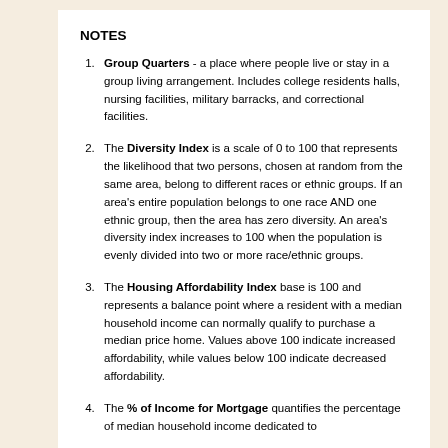NOTES
Group Quarters - a place where people live or stay in a group living arrangement. Includes college residents halls, nursing facilities, military barracks, and correctional facilities.
The Diversity Index is a scale of 0 to 100 that represents the likelihood that two persons, chosen at random from the same area, belong to different races or ethnic groups. If an area's entire population belongs to one race AND one ethnic group, then the area has zero diversity. An area's diversity index increases to 100 when the population is evenly divided into two or more race/ethnic groups.
The Housing Affordability Index base is 100 and represents a balance point where a resident with a median household income can normally qualify to purchase a median price home. Values above 100 indicate increased affordability, while values below 100 indicate decreased affordability.
The % of Income for Mortgage quantifies the percentage of median household income dedicated to